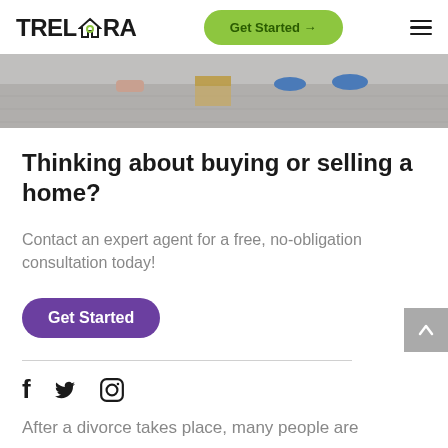TRELORA  Get Started →  ☰
[Figure (photo): Cropped photo showing feet and a cardboard box on a light wood floor, appears to be a moving/real estate scene]
Thinking about buying or selling a home?
Contact an expert agent for a free, no-obligation consultation today!
Get Started
f  (Twitter bird)  (Instagram icon)
After a divorce takes place, many people are